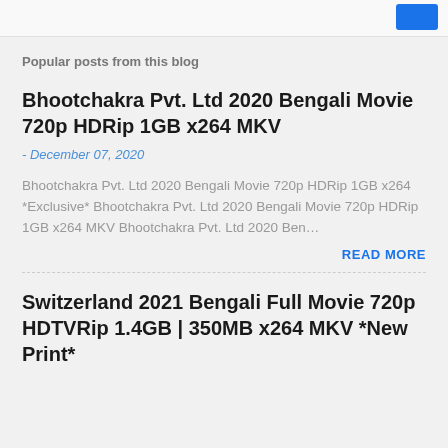Popular posts from this blog
Bhootchakra Pvt. Ltd 2020 Bengali Movie 720p HDRip 1GB x264 MKV
- December 07, 2020
Bhootchakra Pvt. Ltd 2020 Bengali Movie 720p HDRip 1GB x264 *Exclusive* Bhootchakra Pvt. Ltd 2020 Bengali Movie 720p HDRip 1GB x264 MKV Bhootchakra Pvt. Ltd 2020 Ben…
READ MORE
Switzerland 2021 Bengali Full Movie 720p HDTVRip 1.4GB | 350MB x264 MKV *New Print*